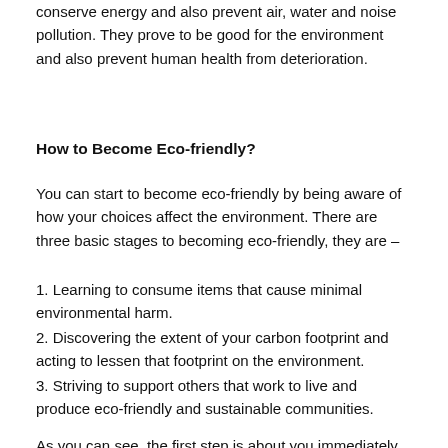conserve energy and also prevent air, water and noise pollution. They prove to be good for the environment and also prevent human health from deterioration.
How to Become Eco-friendly?
You can start to become eco-friendly by being aware of how your choices affect the environment. There are three basic stages to becoming eco-friendly, they are –
1. Learning to consume items that cause minimal environmental harm.
2. Discovering the extent of your carbon footprint and acting to lessen that footprint on the environment.
3. Striving to support others that work to live and produce eco-friendly and sustainable communities.
As you can see, the first step is about you immediately acting